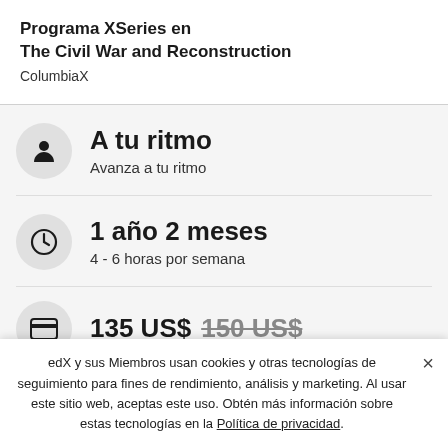Programa XSeries en The Civil War and Reconstruction
ColumbiaX
A tu ritmo
Avanza a tu ritmo
1 año 2 meses
4 - 6 horas por semana
135 US$ 150 US$
edX y sus Miembros usan cookies y otras tecnologías de seguimiento para fines de rendimiento, análisis y marketing. Al usar este sitio web, aceptas este uso. Obtén más información sobre estas tecnologías en la Política de privacidad.